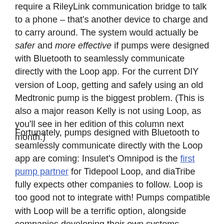require a RileyLink communication bridge to talk to a phone – that's another device to charge and to carry around. The system would actually be safer and more effective if pumps were designed with Bluetooth to seamlessly communicate directly with the Loop app. For the current DIY version of Loop, getting and safely using an old Medtronic pump is the biggest problem. (This is also a major reason Kelly is not using Loop, as you'll see in her edition of this column next month.)
Fortunately, pumps designed with Bluetooth to seamlessly communicate directly with the Loop app are coming: Insulet's Omnipod is the first pump partner for Tidepool Loop, and diaTribe fully expects other companies to follow. Loop is too good not to integrate with! Pumps compatible with Loop will be a terrific option, alongside companies developing their own systems.